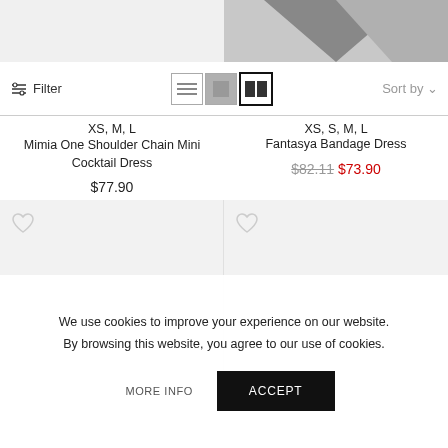[Figure (screenshot): Top banner area: left half light gray, right half medium gray with dark gray triangle/chevron shape]
Filter
[Figure (other): View toggle icons: list view, single grid, two-column grid (active)]
Sort by
XS, M, L
Mimia One Shoulder Chain Mini Cocktail Dress
$77.90
XS, S, M, L
Fantasya Bandage Dress
$82.11  $73.90
[Figure (screenshot): Two product image placeholders (gray areas) with heart/wishlist icons]
We use cookies to improve your experience on our website. By browsing this website, you agree to our use of cookies.
MORE INFO
ACCEPT